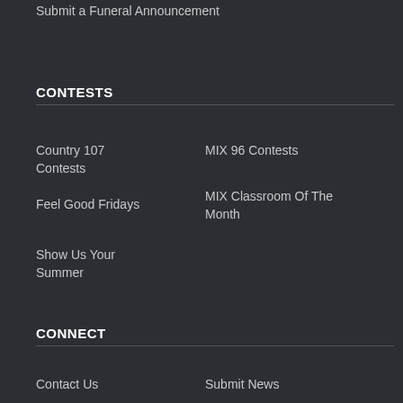Submit a Funeral Announcement
CONTESTS
Country 107 Contests
MIX 96 Contests
Feel Good Fridays
MIX Classroom Of The Month
Show Us Your Summer
CONNECT
Contact Us
Submit News